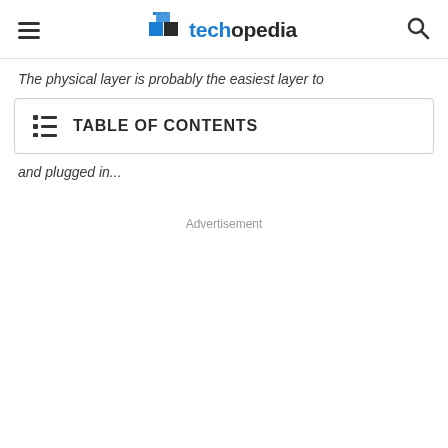techopedia
The physical layer is probably the easiest layer to
TABLE OF CONTENTS
and plugged in...
Advertisement